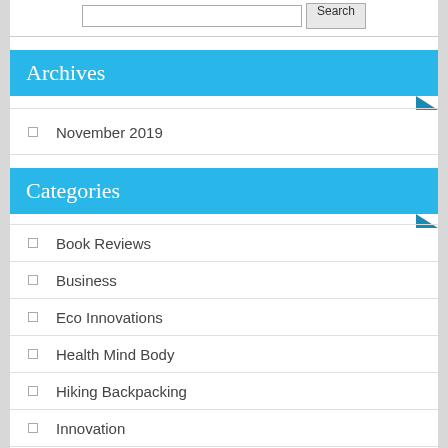Archives
November 2019
Categories
Book Reviews
Business
Eco Innovations
Health Mind Body
Hiking Backpacking
Innovation
News and Society
Travel and Leisure